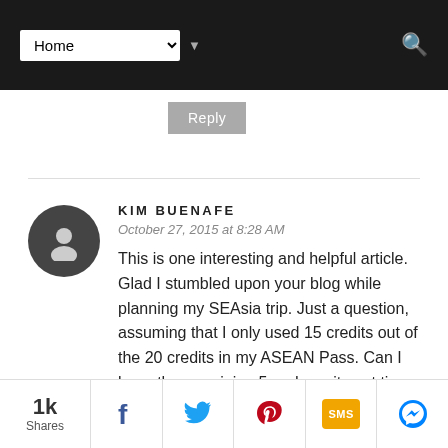Home [navigation dropdown]
Reply
KIM BUENAFE
October 27, 2015 at 8:28 AM
This is one interesting and helpful article. Glad I stumbled upon your blog while planning my SEAsia trip. Just a question, assuming that I only used 15 credits out of the 20 credits in my ASEAN Pass. Can I keep the remaining 5 and use it next time
1k Shares